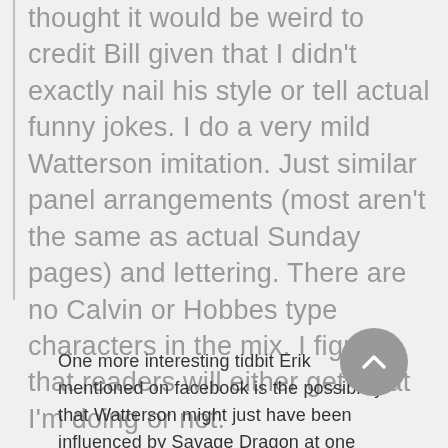thought it would be weird to credit Bill given that I didn't exactly nail his style or tell actual funny jokes. I do a very mild Watterson imitation. Just similar panel arrangements (most aren't the same as actual Sunday pages) and lettering. There are no Calvin or Hobbes type characters in the mix. I figure that readers will either get what I'm doing or not.
One more interesting tidbit Erik mentioned on facebook is the possibility that Watterson might just have been influenced by Savage Dragon at one point...